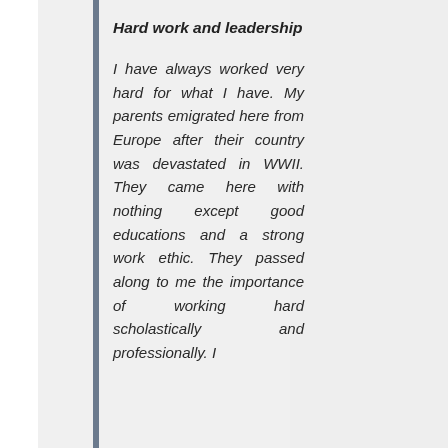Hard work and leadership
I have always worked very hard for what I have. My parents emigrated here from Europe after their country was devastated in WWII. They came here with nothing except good educations and a strong work ethic. They passed along to me the importance of working hard scholastically and professionally. I